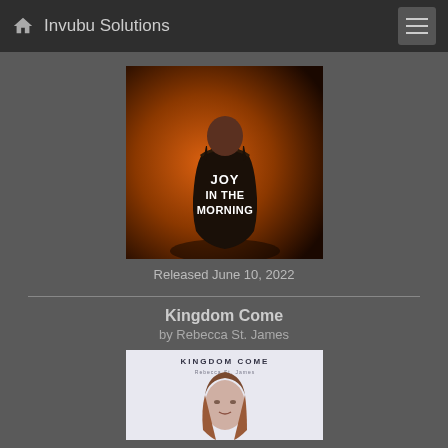Invubu Solutions
[Figure (photo): Album cover for 'Joy in the Morning' – a person in a black leather jacket with text 'JOY IN THE MORNING' on the back, against an orange/red background]
Released June 10, 2022
Kingdom Come
by Rebecca St. James
[Figure (photo): Album cover for 'Kingdom Come' by Rebecca St. James – showing a woman with long brown hair, white background, with 'KINGDOM COME' text at the top]